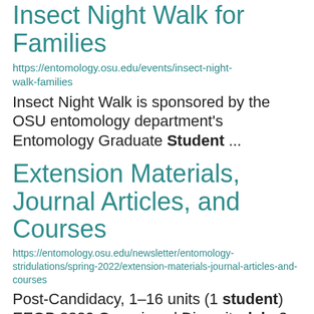Insect Night Walk for Families
https://entomology.osu.edu/events/insect-night-walk-families
Insect Night Walk is sponsored by the OSU entomology department's Entomology Graduate Student ...
Extension Materials, Journal Articles, and Courses
https://entomology.osu.edu/newsletter/entomology-stridulations/spring-2022/extension-materials-journal-articles-and-courses
Post-Candidacy, 1–16 units (1 student) EEOB 3320 Organismal Diversity, lab, 3 units (47 students) Reed Johnson ... ENTMLGY 2200 Beekeeping, lecture and